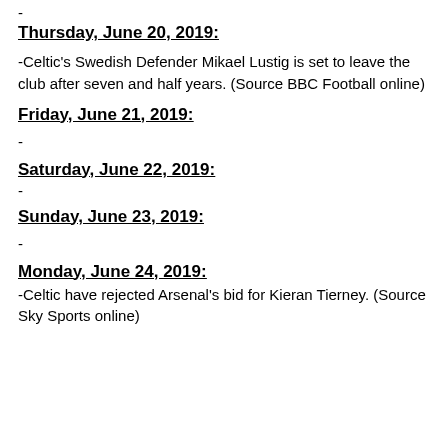-
Thursday, June 20, 2019:
-Celtic's Swedish Defender Mikael Lustig is set to leave the club after seven and half years. (Source BBC Football online)
Friday, June 21, 2019:
-
Saturday, June 22, 2019:
-
Sunday, June 23, 2019:
-
Monday, June 24, 2019:
-Celtic have rejected Arsenal's bid for Kieran Tierney. (Source Sky Sports online)